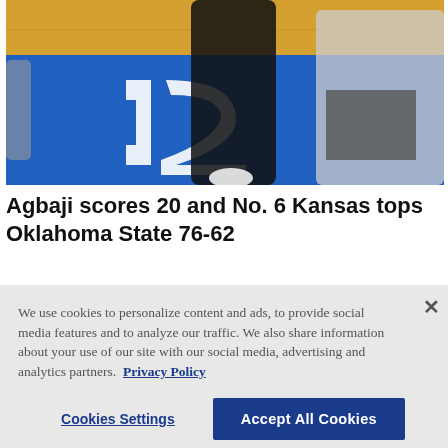[Figure (photo): Basketball players on a court with a Big 12 logo on the floor; two players in dark uniforms near center court during a jump ball or game action.]
Agbaji scores 20 and No. 6 Kansas tops Oklahoma State 76-62
We use cookies to personalize content and ads, to provide social media features and to analyze our traffic. We also share information about your use of our site with our social media, advertising and analytics partners.  Privacy Policy
Cookies Settings    Accept All Cookies